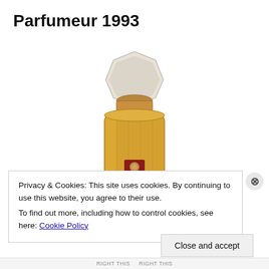Parfumeur 1993
[Figure (photo): A luxury perfume bottle with a gold faceted body, clear octagonal crystal cap, and a small red square label with a rose motif on the front. The bottle is photographed on a white background.]
Privacy & Cookies: This site uses cookies. By continuing to use this website, you agree to their use.
To find out more, including how to control cookies, see here: Cookie Policy
Close and accept